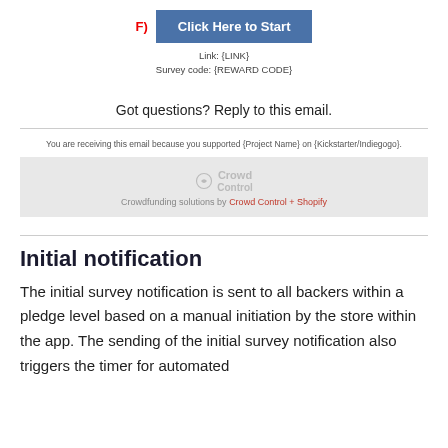F)  Click Here to Start
Link: {LINK}
Survey code: {REWARD CODE}
Got questions? Reply to this email.
You are receiving this email because you supported {Project Name} on {Kickstarter/Indiegogo}.
[Figure (logo): Crowd Control logo with text 'Crowdfunding solutions by Crowd Control + Shopify']
Initial notification
The initial survey notification is sent to all backers within a pledge level based on a manual initiation by the store within the app. The sending of the initial survey notification also triggers the timer for automated